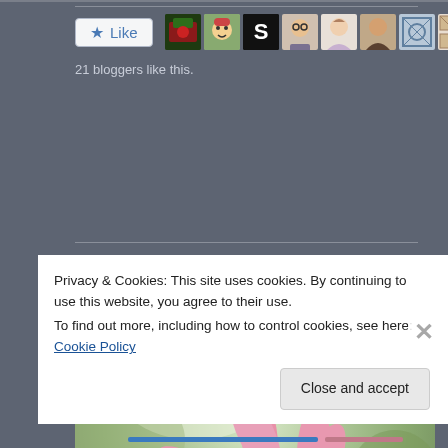[Figure (other): Like button with star icon and blogger avatars row showing 10 profile pictures]
21 bloggers like this.
Related
[Figure (photo): Close-up photograph of a pink daisy/echinacea flower with soft green bokeh background]
Privacy & Cookies: This site uses cookies. By continuing to use this website, you agree to their use.
To find out more, including how to control cookies, see here: Cookie Policy
Close and accept